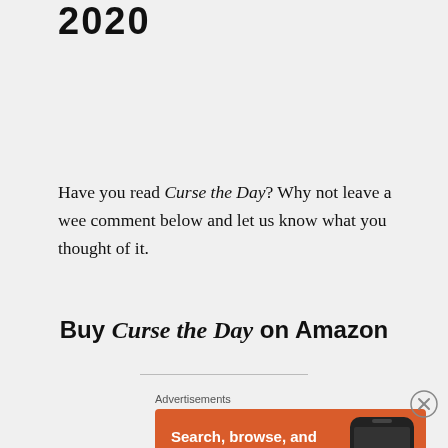2020
Have you read Curse the Day? Why not leave a wee comment below and let us know what you thought of it.
Buy Curse the Day on Amazon
[Figure (other): DuckDuckGo advertisement banner: orange background with white text 'Search, browse, and email with more privacy. All in One Free App' and a phone graphic with DuckDuckGo logo.]
Advertisements